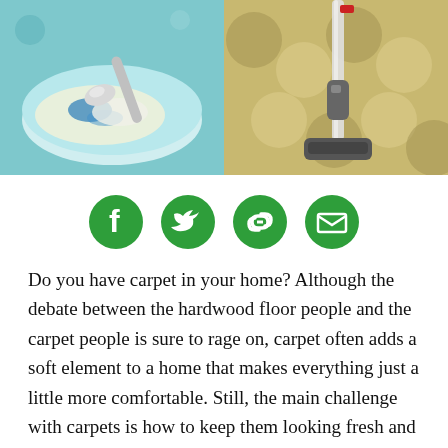[Figure (photo): Two side-by-side photos: left shows a spoon mixing blue and white powder in a bowl (carpet cleaning mixture); right shows a vacuum cleaner on a patterned carpet]
[Figure (infographic): Four green circular social share icons: Facebook, Twitter, Link/Chain, Email/Envelope]
Do you have carpet in your home? Although the debate between the hardwood floor people and the carpet people is sure to rage on, carpet often adds a soft element to a home that makes everything just a little more comfortable. Still, the main challenge with carpets is how to keep them looking fresh and clean throughout the years—especially if
ADVERTISEMENT